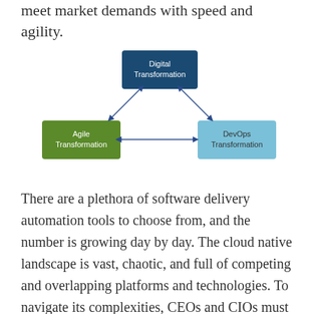meet market demands with speed and agility.
[Figure (flowchart): Triangle flowchart with three nodes connected by double-headed arrows: 'Digital Transformation' (dark blue, top center), 'Agile Transformation' (green, bottom left), 'DevOps Transformation' (light blue, bottom right). All three nodes are interconnected.]
There are a plethora of software delivery automation tools to choose from, and the number is growing day by day. The cloud native landscape is vast, chaotic, and full of competing and overlapping platforms and technologies. To navigate its complexities, CEOs and CIOs must work together to build technology stacks that use the right tools for the right jobs.